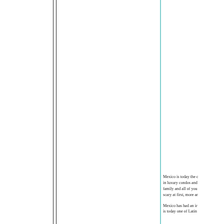Mexico is today the c... in luxury condos and... family and all of you... scary at first, more ar...
Mexico has had an i... is today one of Lati...